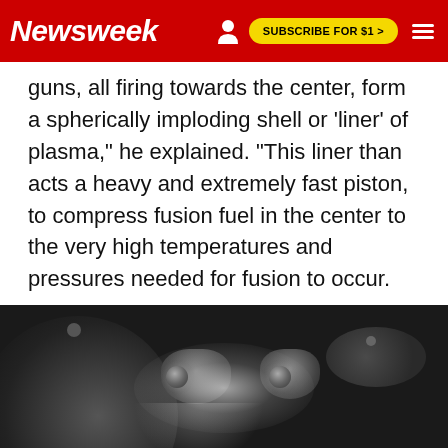Newsweek | SUBSCRIBE FOR $1 >
guns, all firing towards the center, form a spherically imploding shell or 'liner' of plasma," he explained. "This liner than acts a heavy and extremely fast piston, to compress fusion fuel in the center to the very high temperatures and pressures needed for fusion to occur.
[Figure (photo): Black and white close-up photograph of a fusion device showing mechanical components with nozzle-like structures and glowing central area, likely a plasma gun or fusion reactor component.]